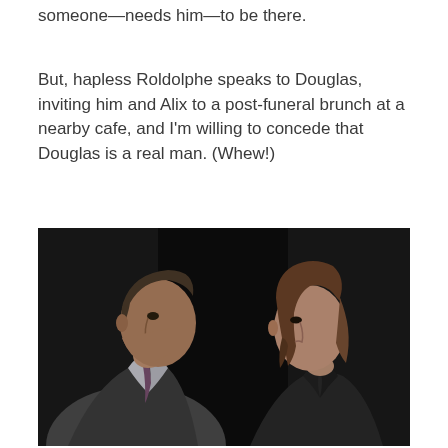someone—needs him—to be there.
But, hapless Roldolphe speaks to Douglas, inviting him and Alix to a post-funeral brunch at a nearby cafe, and I'm willing to concede that Douglas is a real man. (Whew!)
[Figure (photo): Two people facing each other in conversation — a middle-aged man in a suit with a tie on the left, and a young woman with brown hair wearing a dark jacket on the right, against a dark background.]